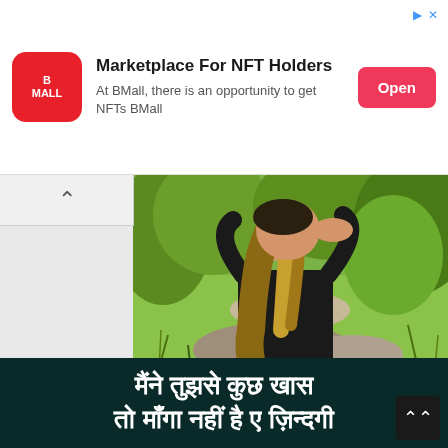[Figure (other): Advertisement banner for BMall NFT marketplace with red logo icon, title 'Marketplace For NFT Holders', subtitle text, and pink Open button]
[Figure (photo): A woman with long blonde/brown hair wearing a black long-sleeve top, photographed from behind with her hands raised to her head, sitting in a green outdoor field/meadow setting]
मैंने तुझसे कुछ खास तो माँगा नहीं है ए ज़िन्दगी